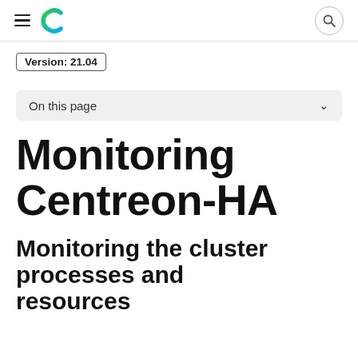Centreon documentation header with hamburger menu, logo, and search icon
Version: 21.04
On this page
Monitoring Centreon-HA
Monitoring the cluster processes and resources